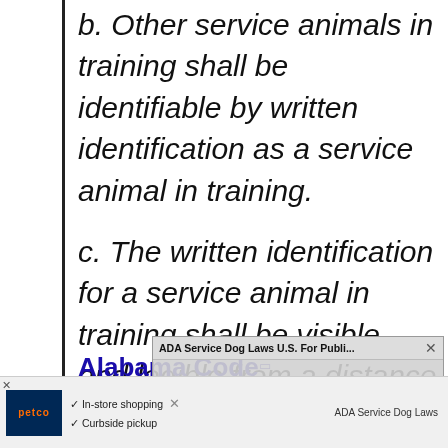b. Other service animals in training shall be identifiable by written identification as a service animal in training.
c. The written identification for a service animal in training shall be visible and legible from a distance of at least 20 feet.
Alabama Code
[Figure (screenshot): A browser overlay popup showing 'ADA Service Dog Laws U.S. For Publi...' with 'No compatible source was found for this media.' message, partially overlapping main content.]
[Figure (screenshot): Bottom ad banner for Petco showing 'In-store shopping' and 'Curbside pickup' with ADA Service Dog Laws branding.]